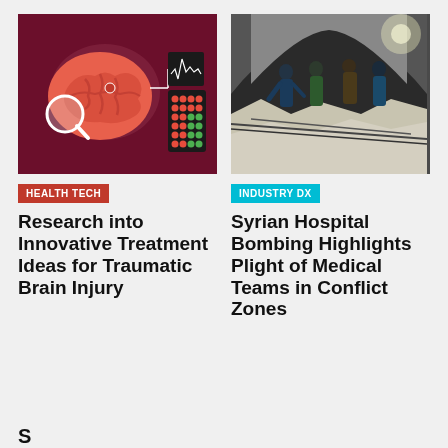[Figure (illustration): Health tech illustration on dark red background showing a brain with a magnifying glass, connected to a device with a waveform display and grid of green/red dots]
[Figure (photo): Photo of people standing amid rubble and debris inside a damaged building, appearing to be a bombed hospital or structure in a conflict zone]
HEALTH TECH
INDUSTRY DX
Research into Innovative Treatment Ideas for Traumatic Brain Injury
Syrian Hospital Bombing Highlights Plight of Medical Teams in Conflict Zones